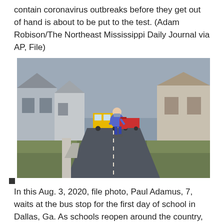contain coronavirus outbreaks before they get out of hand is about to be put to the test. (Adam Robison/The Northeast Mississippi Daily Journal via AP, File)
[Figure (photo): A child wearing a face mask and carrying a large backpack walks along a suburban street toward a school bus. Houses line both sides of the street. The sky is overcast.]
In this Aug. 3, 2020, file photo, Paul Adamus, 7, waits at the bus stop for the first day of school in Dallas, Ga. As schools reopen around the country, their ability to quickly identify and contain coronavirus outbreaks before they get out of hand is about to be put to the test. (AP Photo/Brynn